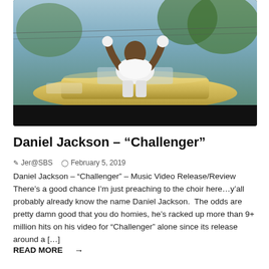[Figure (photo): Man in white t-shirt sitting on a gold/yellow car with hands raised, outdoor setting with trees in background. Photo has a black bar at the bottom.]
Daniel Jackson – “Challenger”
Jer@SBS   February 5, 2019
Daniel Jackson – “Challenger” – Music Video Release/Review There’s a good chance I’m just preaching to the choir here…y’all probably already know the name Daniel Jackson.  The odds are pretty damn good that you do homies, he’s racked up more than 9+ million hits on his video for “Challenger” alone since its release around a […]
READ MORE  →